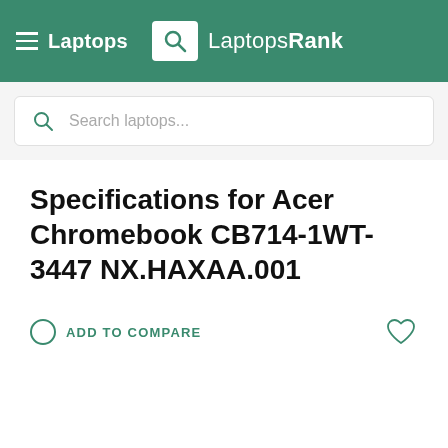≡ Laptops  LaptopsRank
Search laptops...
Specifications for Acer Chromebook CB714-1WT-3447 NX.HAXAA.001
ADD TO COMPARE